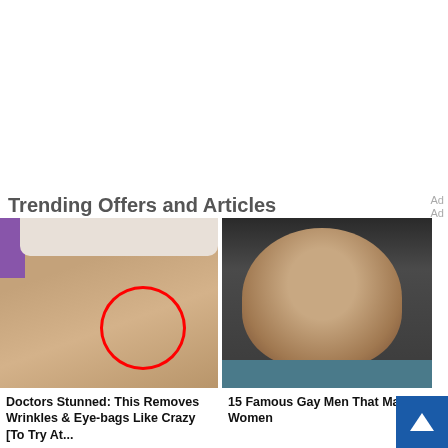Trending Offers and Articles
[Figure (photo): Woman lying down receiving a facial/skin treatment with towel on head and red circle highlighting area near eye]
[Figure (photo): Portrait of a man with dark hair against dark background]
Doctors Stunned: This Removes Wrinkles & Eye-bags Like Crazy [To Try At...
15 Famous Gay Men That Married Women